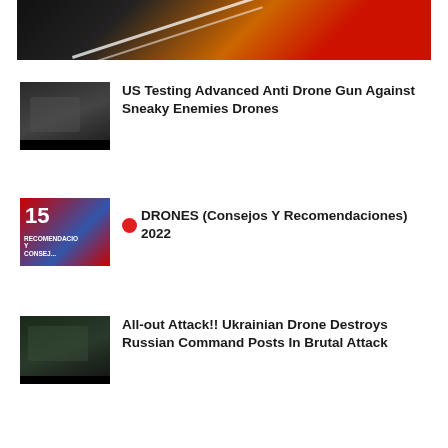[Figure (photo): Partial view of a video thumbnail showing dark background with orange and red gradient shapes]
[Figure (photo): Thumbnail showing a person holding an anti-drone gun device, dark background]
US Testing Advanced Anti Drone Gun Against Sneaky Enemies Drones
[Figure (photo): Thumbnail with red background showing number 15, text RECOMENDACIONES Y CONSEJOS in white]
DRONES (Consejos Y Recomendaciones) 2022
[Figure (photo): Thumbnail showing aerial view of military equipment and explosions on green landscape]
All-out Attack!! Ukrainian Drone Destroys Russian Command Posts In Brutal Attack